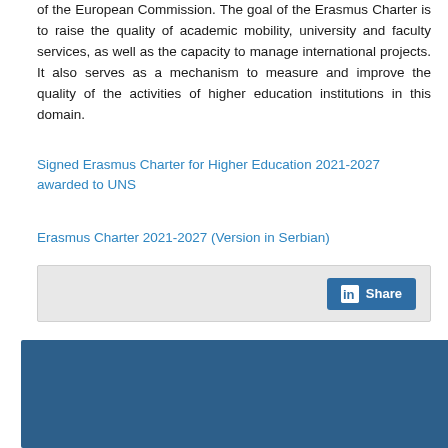of the European Commission. The goal of the Erasmus Charter is to raise the quality of academic mobility, university and faculty services, as well as the capacity to manage international projects. It also serves as a mechanism to measure and improve the quality of the activities of higher education institutions in this domain.
Signed Erasmus Charter for Higher Education 2021-2027 awarded to UNS
Erasmus Charter 2021-2027 (Version in Serbian)
[Figure (other): LinkedIn Share button on a grey background bar]
[Figure (other): Dark blue rectangular banner/footer block]